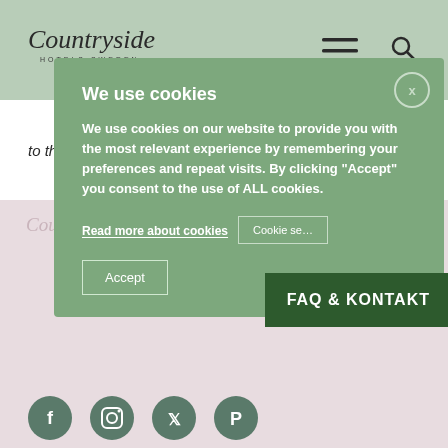Countryside Hotels Sweden
to the hotel.
[Figure (screenshot): Cookie consent modal overlay on a hotel website. Modal has green background with title 'We use cookies', body text about cookie usage, links for 'Read more about cookies', 'Cookie settings' button, 'Accept' button, and a 'FAQ & KONTAKT' dark green banner button in the bottom right.]
We use cookies
We use cookies on our website to provide you with the most relevant experience by remembering your preferences and repeat visits. By clicking "Accept" you consent to the use of ALL cookies.
Read more about cookies
Cookie settings
FAQ & KONTAKT
Accept